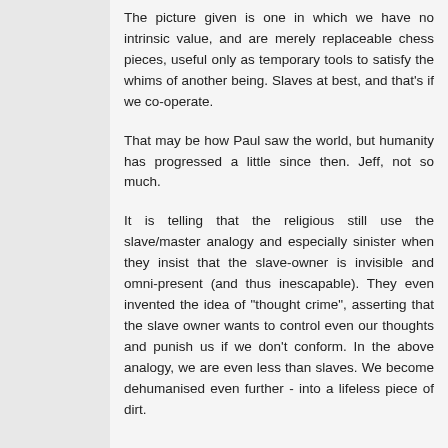The picture given is one in which we have no intrinsic value, and are merely replaceable chess pieces, useful only as temporary tools to satisfy the whims of another being. Slaves at best, and that's if we co-operate.
That may be how Paul saw the world, but humanity has progressed a little since then. Jeff, not so much.
It is telling that the religious still use the slave/master analogy and especially sinister when they insist that the slave-owner is invisible and omni-present (and thus inescapable). They even invented the idea of "thought crime", asserting that the slave owner wants to control even our thoughts and punish us if we don't conform. In the above analogy, we are even less than slaves. We become dehumanised even further - into a lifeless piece of dirt.